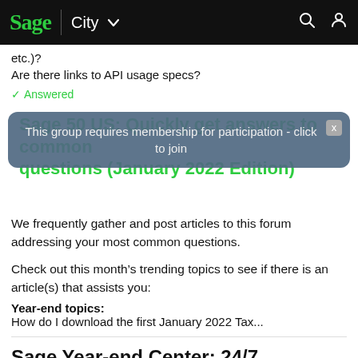Sage City
etc.)?
Are there links to API usage specs?
✓ Answered
This group requires membership for participation - click to join
Sage 50 US: Quickly get answers to common questions (January 2022 Edition)
We frequently gather and post articles to this forum addressing your most common questions.
Check out this month's trending topics to see if there is an article(s) that assists you:
Year-end topics:
How do I download the first January 2022 Tax...
Sage Year-end Center: 24/7 resources and information